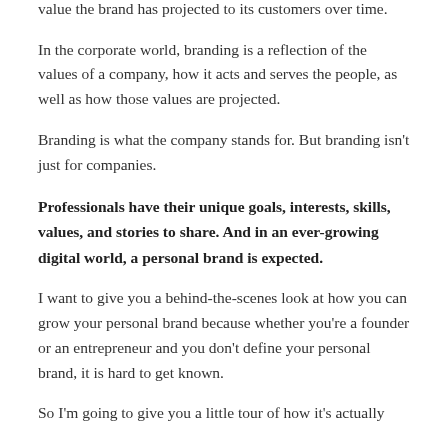product you see the Adidas logo design on. This is the value the brand has projected to its customers over time.
In the corporate world, branding is a reflection of the values of a company, how it acts and serves the people, as well as how those values are projected.
Branding is what the company stands for. But branding isn't just for companies.
Professionals have their unique goals, interests, skills, values, and stories to share. And in an ever-growing digital world, a personal brand is expected.
I want to give you a behind-the-scenes look at how you can grow your personal brand because whether you're a founder or an entrepreneur and you don't define your personal brand, it is hard to get known.
So I'm going to give you a little tour of how it's actually